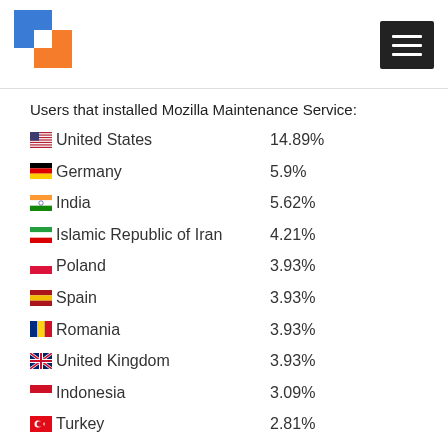[Figure (logo): Colored block logo (blue and orange squares) on the left, hamburger menu button on the right]
Users that installed Mozilla Maintenance Service:
United States  14.89%
Germany  5.9%
India  5.62%
Islamic Republic of Iran  4.21%
Poland  3.93%
Spain  3.93%
Romania  3.93%
United Kingdom  3.93%
Indonesia  3.09%
Turkey  2.81%
Disclaimer